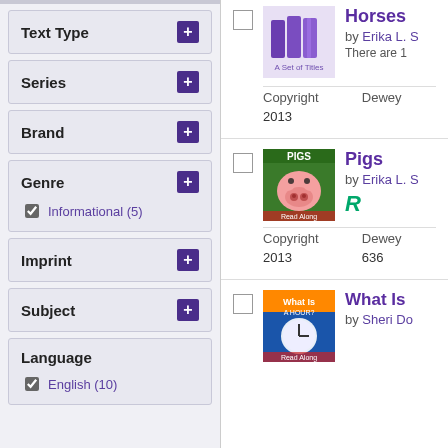Text Type (expandable filter)
Series (expandable filter)
Brand (expandable filter)
Genre — Informational (5)
Imprint (expandable filter)
Subject (expandable filter)
Language — English (10)
Horses by Erika L. ... — A Set of Titles. There are 1...
| Copyright | Dewey |
| --- | --- |
| 2013 |  |
Pigs by Erika L. ...
| Copyright | Dewey |
| --- | --- |
| 2013 | 636 |
What Is... by Sheri Do...